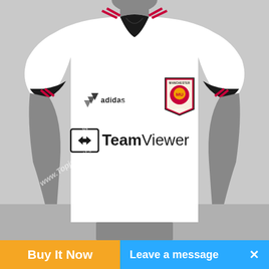[Figure (photo): A white Manchester United away football jersey with TeamViewer sponsor logo and Adidas branding, displayed on a grey mannequin. The jersey has a black V-neck collar with red stripes on shoulders, black cuffs. Manchester United crest is on the chest. Watermark text 'www.Topjersey.ru' appears diagonally across the image.]
Buy It Now
Leave a message  X